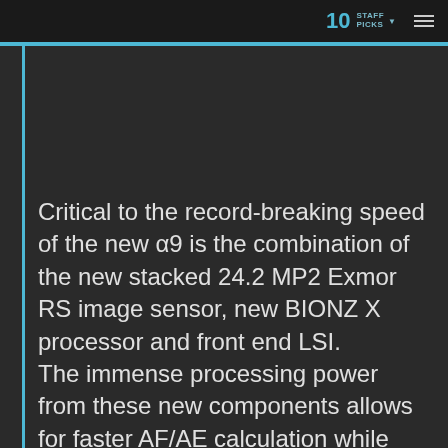10 STAFF PICKS
Critical to the record-breaking speed of the new α9 is the combination of the new stacked 24.2 MP2 Exmor RS image sensor, new BIONZ X processor and front end LSI. The immense processing power from these new components allows for faster AF/AE calculation while also reducing EVF display latency. The